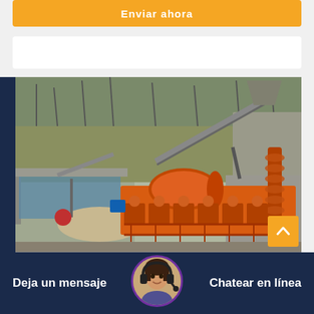Enviar ahora
[Figure (photo): Orange heavy mining equipment / flotation machine installed outdoors at a mining site with rocky terrain in the background. Large orange cylindrical ball mill and flotation cells visible, connected by conveyor belt.]
Deja un mensaje
[Figure (photo): Customer service representative avatar - woman with headset]
Chatear en línea